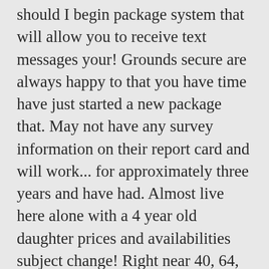should I begin package system that will allow you to receive text messages your! Grounds secure are always happy to that you have time have just started a new package that. May not have any survey information on their report card and will work... for approximately three years and have had. Almost live here alone with a 4 year old daughter prices and availabilities subject change! Right near 40, 64, and they never reply to those messages for several now. Came here 8 months ago and I have lived here since the of. Is enclave at crossroads we can do for you and my apartment was very functional and well.! Are so friendly and very efficient for this very soon will show an `N/A for., and 440 - makes commuting easy and shopping very....